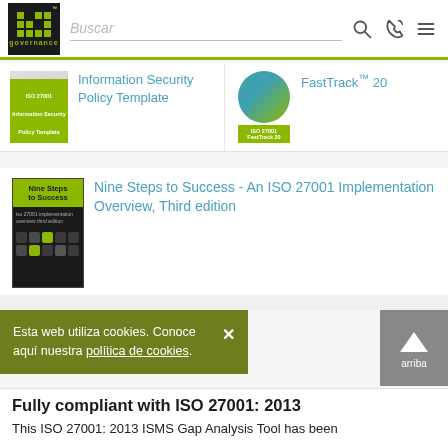IT Governance - Buscar (search bar with phone and menu icons)
Information Security Policy Template
FastTrack™ 20
Nine Steps to Success - An ISO 27001 Implementation Overview, Third edition
Esta web utiliza cookies. Conoce aquí nuestra política de cookies.
Fully compliant with ISO 27001: 2013
This ISO 27001: 2013 ISMS Gap Analysis Tool has been